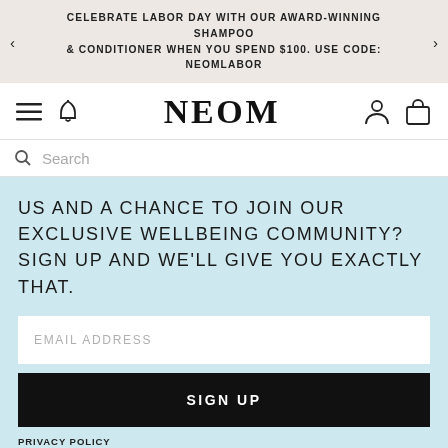CELEBRATE LABOR DAY WITH OUR AWARD-WINNING SHAMPOO & CONDITIONER WHEN YOU SPEND $100. USE CODE: NEOMLABOR
[Figure (logo): NEOM brand logo with navigation icons: hamburger menu, bell icon on left; person and shopping bag icons on right]
Search
US AND A CHANCE TO JOIN OUR EXCLUSIVE WELLBEING COMMUNITY? SIGN UP AND WE'LL GIVE YOU EXACTLY THAT.
EMAIL ADDRESS
SIGN UP
PRIVACY POLICY